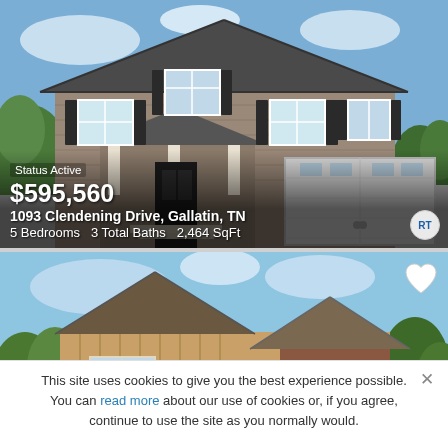[Figure (photo): Exterior photo of a two-story brick home with a two-car garage, covered front porch, and black shutters. Blue sky in background.]
Status Active
$595,560
1093 Clendening Drive, Gallatin, TN
5 Bedrooms  3 Total Baths  2,464 SqFt
[Figure (photo): Rendered exterior illustration of a two-story home with stone and siding accents, two peaked roof sections, and arched front entry. Trees and blue sky in background.]
Status Active
This site uses cookies to give you the best experience possible. You can read more about our use of cookies or, if you agree, continue to use the site as you normally would.